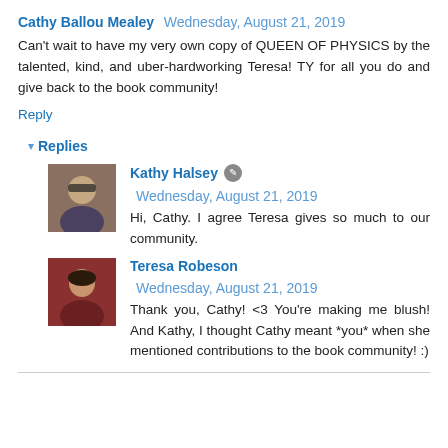Cathy Ballou Mealey Wednesday, August 21, 2019
Can't wait to have my very own copy of QUEEN OF PHYSICS by the talented, kind, and uber-hardworking Teresa! TY for all you do and give back to the book community!
Reply
▾ Replies
[Figure (photo): Avatar photo of Kathy Halsey - person wearing sunglasses]
Kathy Halsey 🖊 Wednesday, August 21, 2019
Hi, Cathy. I agree Teresa gives so much to our community.
[Figure (photo): Avatar photo of Teresa Robeson - woman with dark hair]
Teresa Robeson Wednesday, August 21, 2019
Thank you, Cathy! <3 You're making me blush! And Kathy, I thought Cathy meant *you* when she mentioned contributions to the book community! :)